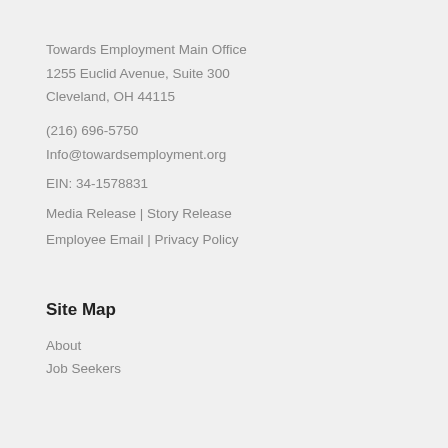Towards Employment Main Office
1255 Euclid Avenue, Suite 300
Cleveland, OH 44115
(216) 696-5750
Info@towardsemployment.org
EIN: 34-1578831
Media Release | Story Release
Employee Email | Privacy Policy
Site Map
About
Job Seekers